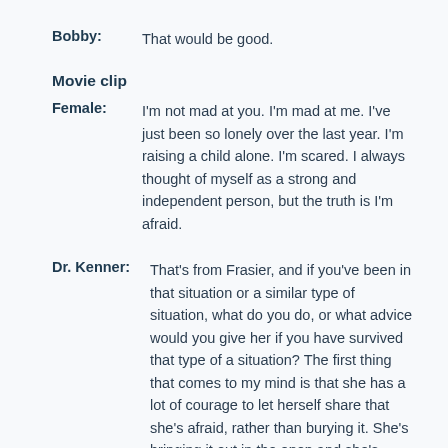Bobby: That would be good.
Movie clip
Female: I'm not mad at you. I'm mad at me. I've just been so lonely over the last year. I'm raising a child alone. I'm scared. I always thought of myself as a strong and independent person, but the truth is I'm afraid.
Dr. Kenner: That's from Frasier, and if you've been in that situation or a similar type of situation, what do you do, or what advice would you give her if you have survived that type of a situation? The first thing that comes to my mind is that she has a lot of courage to let herself share that she's afraid, rather than burying it. She's bringing it out in the open and she's facing her fear and she's naming what it is. She's saying, "I'm afraid